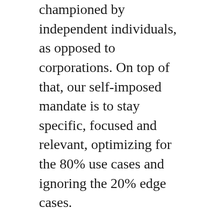championed by independent individuals, as opposed to corporations. On top of that, our self-imposed mandate is to stay specific, focused and relevant, optimizing for the 80% use cases and ignoring the 20% edge cases.
This story has been replayed and retold the world over, with great effect and consequence. What we have failed to articulate in the same time and space, however, is what work is necessary beyond the creation of new microformats. And because of that, we have more so many folks joining the community, eager to help, and seeing only the opportunity to — what else? — create a new microformat (in spite of the warning to not do so!)!